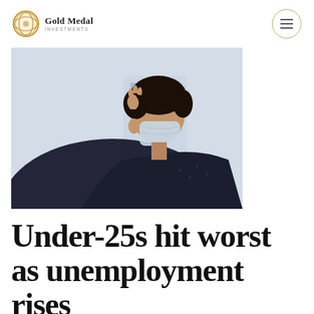Gold Medal Investments
[Figure (photo): Young man wearing a face mask, head bowed and hand raised to his forehead in a stressed posture, with a city building in the background.]
Under-25s hit worst as unemployment rises